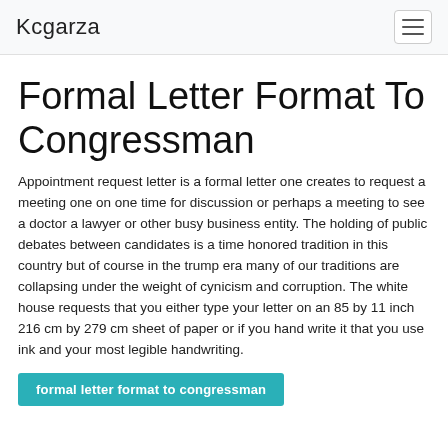Kcgarza
Formal Letter Format To Congressman
Appointment request letter is a formal letter one creates to request a meeting one on one time for discussion or perhaps a meeting to see a doctor a lawyer or other busy business entity. The holding of public debates between candidates is a time honored tradition in this country but of course in the trump era many of our traditions are collapsing under the weight of cynicism and corruption. The white house requests that you either type your letter on an 85 by 11 inch 216 cm by 279 cm sheet of paper or if you hand write it that you use ink and your most legible handwriting.
formal letter format to congressman